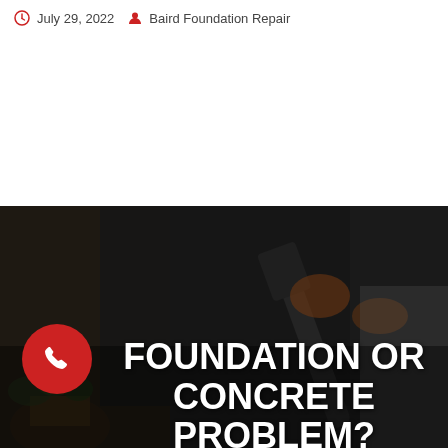July 29, 2022   Baird Foundation Repair
[Figure (photo): Dark-toned photo of a worker in dark clothing and orange gloves using a shovel or digging tool near a concrete/foundation area, with a potted plant visible on the left side. Overlay text reads FOUNDATION OR CONCRETE PROBLEM? A red circle with a white phone icon is visible on the lower left.]
FOUNDATION OR CONCRETE PROBLEM?